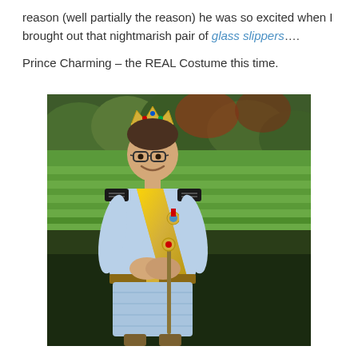reason (well partially the reason) he was so excited when I brought out that nightmarish pair of glass slippers….
Prince Charming – the REAL Costume this time.
[Figure (photo): A man dressed in a Prince Charming costume standing outdoors. He wears a gold crown, glasses, a light blue and gold royal costume with black epaulettes, a medal, and holds a scepter. Background shows green grass fields and trees.]